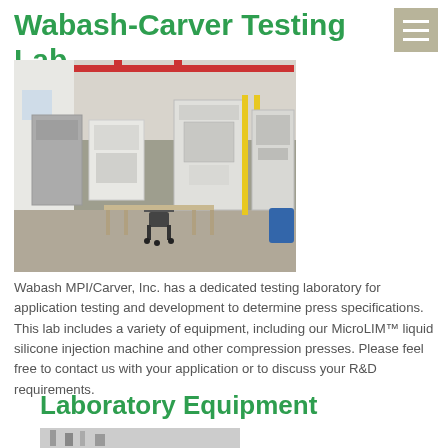Wabash-Carver Testing Lab
[Figure (photo): Interior of a testing laboratory showing industrial compression press equipment, white and yellow machinery, a folding table with chairs, red overhead pipes, and concrete floor.]
Wabash MPI/Carver, Inc. has a dedicated testing laboratory for application testing and development to determine press specifications. This lab includes a variety of equipment, including our MicroLIM™ liquid silicone injection machine and other compression presses. Please feel free to contact us with your application or to discuss your R&D requirements.
Laboratory Equipment
[Figure (photo): Partial view of laboratory equipment at the bottom of the page, cropped.]